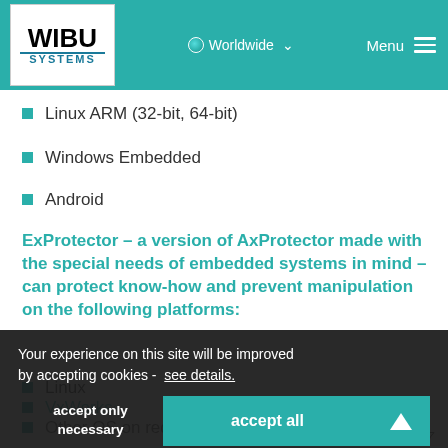WIBU SYSTEMS | Worldwide | Menu
Linux ARM (32-bit, 64-bit)
Windows Embedded
Android
ExProtector – a version of AxProtector made with the special needs of embedded systems in mind – can protect know-how and prevent manipulation on the following platforms:
Linux
VxWorks
Other OS on request
Your experience on this site will be improved by accepting cookies - see details.
accept only necessary | accept all
KEYnote 33 – Edition Spring 2017